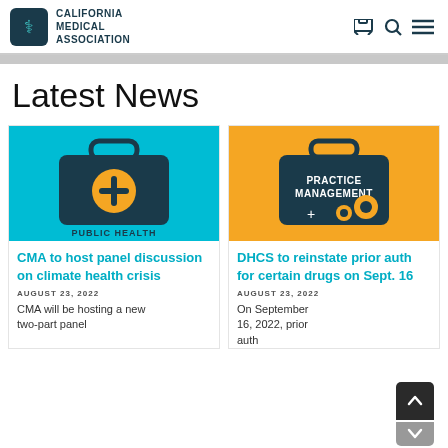CALIFORNIA MEDICAL ASSOCIATION
Latest News
[Figure (illustration): Public Health medical kit icon on teal background with orange plus circle and text PUBLIC HEALTH]
[Figure (illustration): Practice Management medical kit icon on orange background with gears and text PRACTICE MANAGEMENT]
CMA to host panel discussion on climate health crisis
AUGUST 23, 2022
CMA will be hosting a new two-part panel
DHCS to reinstate prior auth for certain drugs on Sept. 16
AUGUST 23, 2022
On September 16, 2022, prior auth